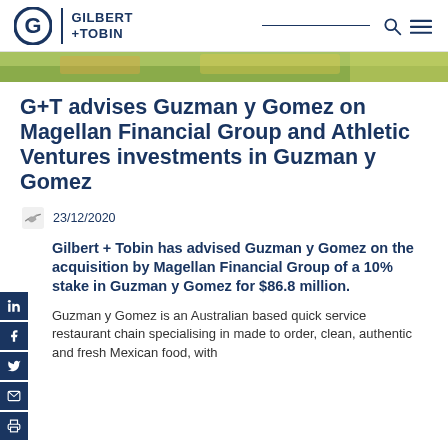Gilbert + Tobin
[Figure (photo): Hero image strip showing food items, likely Mexican food with green/yellow tones]
G+T advises Guzman y Gomez on Magellan Financial Group and Athletic Ventures investments in Guzman y Gomez
23/12/2020
Gilbert + Tobin has advised Guzman y Gomez on the acquisition by Magellan Financial Group of a 10% stake in Guzman y Gomez for $86.8 million.
Guzman y Gomez is an Australian based quick service restaurant chain specialising in made to order, clean, authentic and fresh Mexican food, with